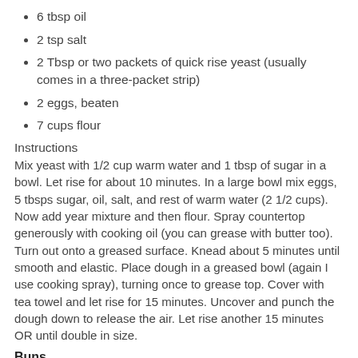6 tbsp oil
2 tsp salt
2 Tbsp or two packets of quick rise yeast (usually comes in a three-packet strip)
2 eggs, beaten
7 cups flour
Instructions
Mix yeast with 1/2 cup warm water and 1 tbsp of sugar in a bowl. Let rise for about 10 minutes. In a large bowl mix eggs, 5 tbsps sugar, oil, salt, and rest of warm water (2 1/2 cups). Now add year mixture and then flour. Spray countertop generously with cooking oil (you can grease with butter too). Turn out onto a greased surface. Knead about 5 minutes until smooth and elastic. Place dough in a greased bowl (again I use cooking spray), turning once to grease top. Cover with tea towel and let rise for 15 minutes. Uncover and punch the dough down to release the air. Let rise another 15 minutes OR until double in size.
Buns
The are the instructions to continue with regular buns. Place